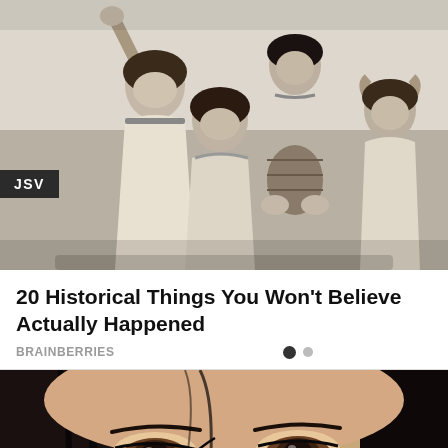[Figure (photo): Black and white vintage photograph of four women posing together, one with arm raised, wearing similar light-colored dresses. A dark badge with 'JSV' text is overlaid on the lower left.]
20 Historical Things You Won't Believe Actually Happened
BRAINBERRIES
[Figure (photo): Close-up color photo of a woman's face showing her eyes with eyeliner makeup, dark hair, and wearing earrings.]